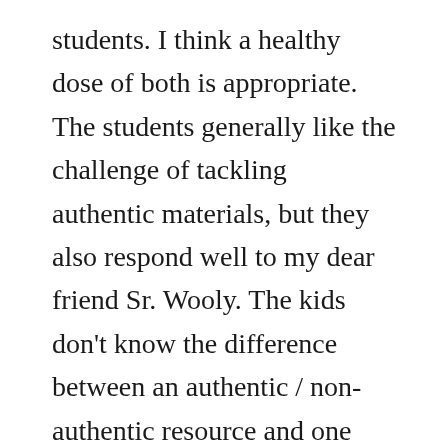students. I think a healthy dose of both is appropriate. The students generally like the challenge of tackling authentic materials, but they also respond well to my dear friend Sr. Wooly. The kids don't know the difference between an authentic / non-authentic resource and one thing every kid knows how to say thanks to Sr. Wooly is “puedo ir al baño?”...so there is a place for everything. We even discussed this at ICTFL...is it fair to say reading a book like Harry Potter that is translated into an L2 is not an authentic reading? Lots